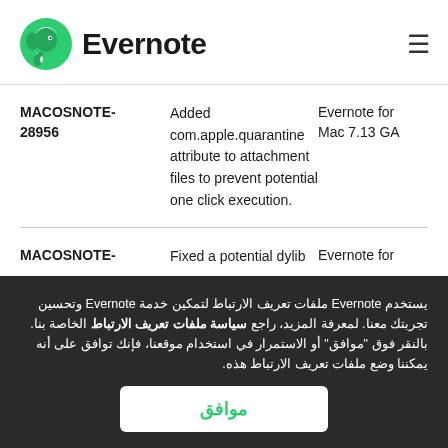[Figure (logo): Evernote logo — green elephant head icon followed by bold 'Evernote' text]
| ID | Description | Version |
| --- | --- | --- |
| MACOSNOTE-28956 | Added com.apple.quarantine attribute to attachment files to prevent potential one click execution. | Evernote for Mac 7.13 GA |
| MACOSNOTE- | Fixed a potential dylib | Evernote for |
يستخدم Evernote ملفات تعريف الارتباط لتمكين خدمة Evernote وتحسين تجربتك معنا. لمعرفة المزيد، راجع سياسة ملفات تعريف الارتباط الخاصة بنا. بالنقر فوق "موافق" أو الاستمرار في استخدام موقعنا، فإنك توافق على أنه يمكننا وضع ملفات تعريف الارتباط هذه.
موافق